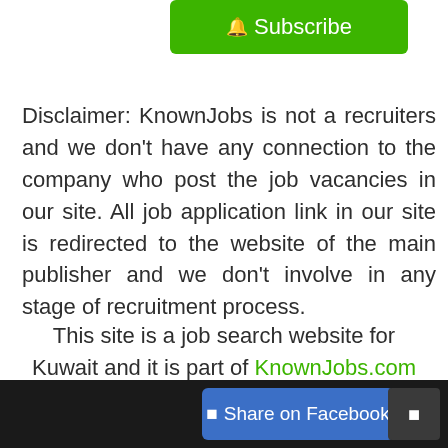[Figure (other): Green Subscribe button with bell icon]
Disclaimer: KnownJobs is not a recruiters and we don't have any connection to the company who post the job vacancies in our site. All job application link in our site is redirected to the website of the main publisher and we don't involve in any stage of recruitment process.
This site is a job search website for Kuwait and it is part of KnownJobs.com network of online job listing portal.
[Figure (other): Blue Share on Facebook button and dark small button in footer bar]